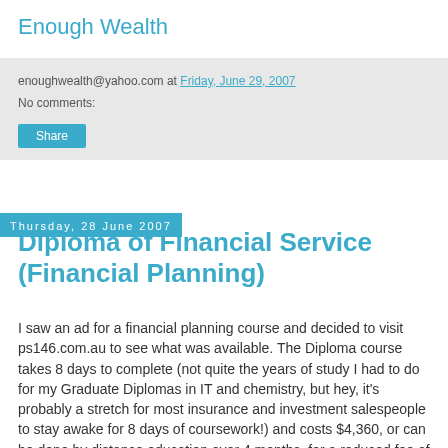Enough Wealth
enoughwealth@yahoo.com at Friday, June 29, 2007
No comments:
Share
Thursday, 28 June 2007
Diploma of Financial Service (Financial Planning)
I saw an ad for a financial planning course and decided to visit ps146.com.au to see what was available. The Diploma course takes 8 days to complete (not quite the years of study I had to do for my Graduate Diplomas in IT and chemistry, but hey, it's probably a stretch for most insurance and investment salespeople to stay awake for 8 days of coursework!) and costs $4,360, or can be done by distance education over 4 months, for a reduced fee of $2,360.